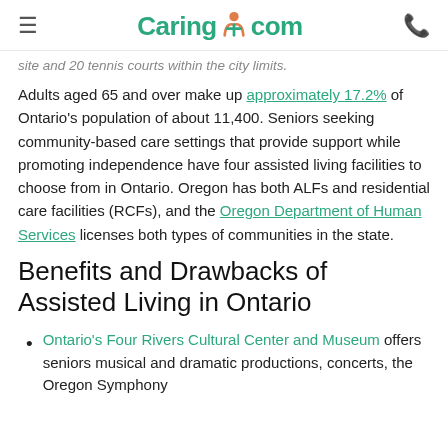Caring.com
site and 20 tennis courts within the city limits.
Adults aged 65 and over make up approximately 17.2% of Ontario's population of about 11,400. Seniors seeking community-based care settings that provide support while promoting independence have four assisted living facilities to choose from in Ontario. Oregon has both ALFs and residential care facilities (RCFs), and the Oregon Department of Human Services licenses both types of communities in the state.
Benefits and Drawbacks of Assisted Living in Ontario
Ontario's Four Rivers Cultural Center and Museum offers seniors musical and dramatic productions, concerts, the Oregon Symphony